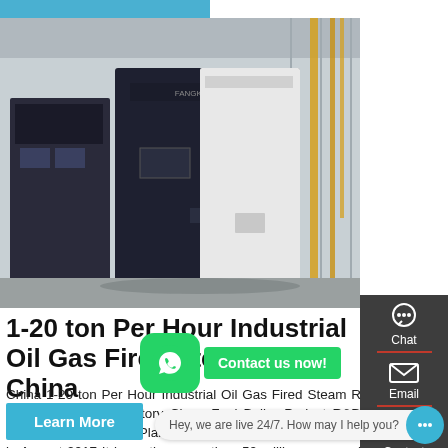[Figure (photo): Industrial oil gas fired steam boiler equipment in a factory setting, large dark cabinet-style boiler with branding text, pipes and industrial infrastructure visible in background]
1-20 ton Per Hour Industrial Oil Gas Fired Steam Boiler China
China 1-20 ton Per Hour Industrial Oil Gas Fired Steam R & D Center & Laboratory Clean Fuel Boiler Project R&D Center is located the Plains Fuel Contact was established in August 2017 It is costing more than 50 million yuan and a total construction area of 6000 square meters according to the national R&D cent...
[Figure (other): WhatsApp icon overlay with green background and phone symbol, alongside a 'Contact us now!' green button]
Hey, we are live 24/7. How may I help you?